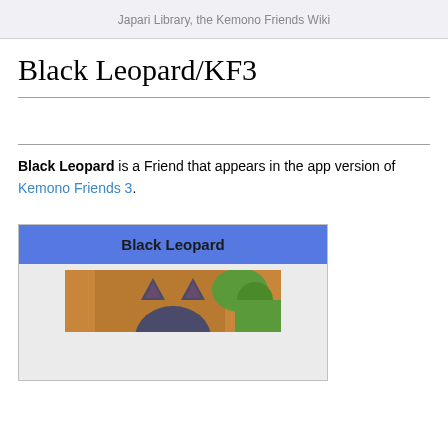Japari Library, the Kemono Friends Wiki
Black Leopard/KF3
Black Leopard is a Friend that appears in the app version of Kemono Friends 3.
[Figure (infographic): Infobox with blue header reading 'Black Leopard' and a cropped image showing the top of a dark-colored cat character's head (ears visible) against a warm orange/brown background with green foliage.]